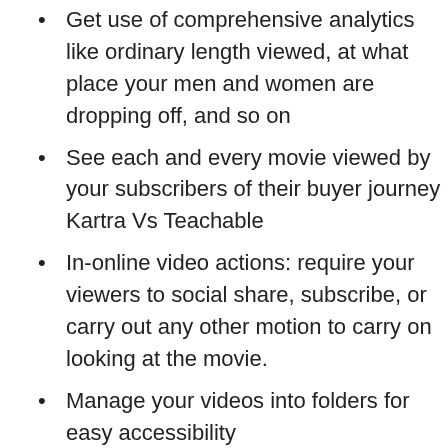Get use of comprehensive analytics like ordinary length viewed, at what place your men and women are dropping off, and so on
See each and every movie viewed by your subscribers of their buyer journey Kartra Vs Teachable
In-online video actions: require your viewers to social share, subscribe, or carry out any other motion to carry on looking at the movie.
Manage your videos into folders for easy accessibility
immediately embed your videos into Kartra web pages – no hunting down URLs
Kartra Video web hosting Con's